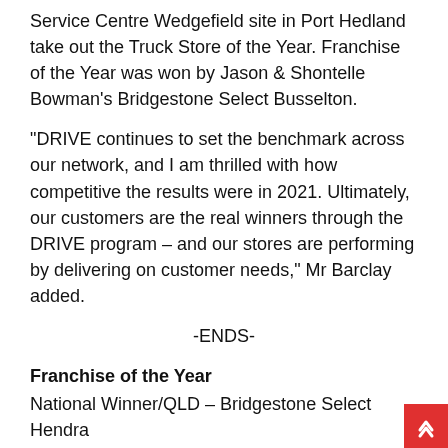Service Centre Wedgefield site in Port Hedland take out the Truck Store of the Year. Franchise of the Year was won by Jason & Shontelle Bowman's Bridgestone Select Busselton.
"DRIVE continues to set the benchmark across our network, and I am thrilled with how competitive the results were in 2021. Ultimately, our customers are the real winners through the DRIVE program – and our stores are performing by delivering on customer needs," Mr Barclay added.
-ENDS-
Franchise of the Year
National Winner/QLD – Bridgestone Select Hendra
NSW/ACT – Bridgestone Select Rutherford
VIC/TAS – Bridgestone Select Hobart
SA/NT – Bridgestone Select Norwood
WA – Bridgestone Select Busselton